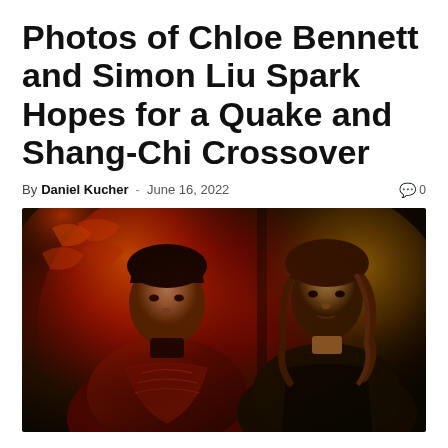Photos of Chloe Bennett and Simon Liu Spark Hopes for a Quake and Shang-Chi Crossover
By Daniel Kucher - June 16, 2022  🗨 0
[Figure (photo): Composite image showing Simu Liu as Shang-Chi in red armor on the left with a glowing red dragon background, and Chloe Bennett as Quake/Daisy Johnson on the right with warm amber lighting.]